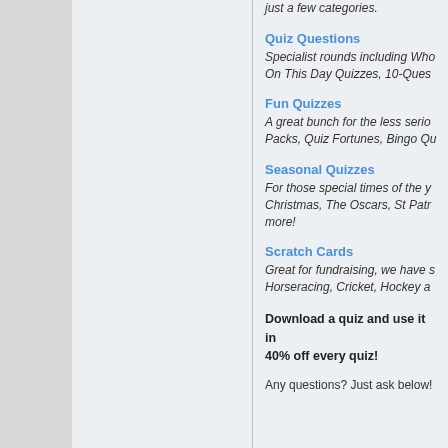just a few categories.
Quiz Questions
Specialist rounds including Who… On This Day Quizzes, 10-Ques…
Fun Quizzes
A great bunch for the less serio… Packs, Quiz Fortunes, Bingo Qu…
Seasonal Quizzes
For those special times of the y… Christmas, The Oscars, St Patr… more!
Scratch Cards
Great for fundraising, we have s… Horseracing, Cricket, Hockey a…
Download a quiz and use it in… 40% off every quiz!
Any questions? Just ask below!
Qui…